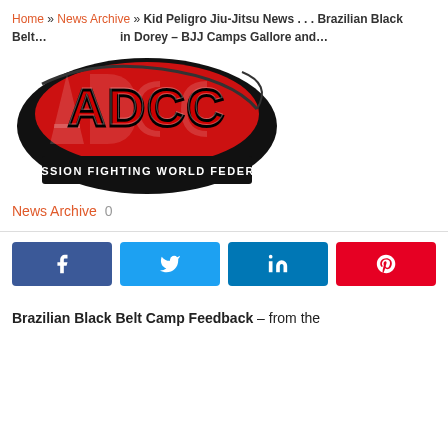Home » News Archive » Kid Peligro Jiu-Jitsu News . . . Brazilian Black Belt … in Dorey – BJJ Camps Gallore and …
[Figure (logo): ADCC Submission Fighting World Federation logo — red stylized graffiti lettering on black oval background with text 'SUBMISSION FIGHTING WORLD FEDERATION' at bottom]
News Archive  0
[Figure (infographic): Four social share buttons: Facebook (blue), Twitter (light blue), LinkedIn (dark blue), Pinterest (red), each with respective icons]
Brazilian Black Belt Camp Feedback – from the